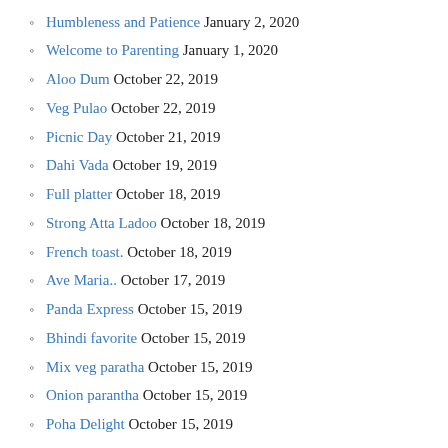Humbleness and Patience January 2, 2020
Welcome to Parenting January 1, 2020
Aloo Dum October 22, 2019
Veg Pulao October 22, 2019
Picnic Day October 21, 2019
Dahi Vada October 19, 2019
Full platter October 18, 2019
Strong Atta Ladoo October 18, 2019
French toast. October 18, 2019
Ave Maria.. October 17, 2019
Panda Express October 15, 2019
Bhindi favorite October 15, 2019
Mix veg paratha October 15, 2019
Onion parantha October 15, 2019
Poha Delight October 15, 2019
Brinjal Curry October 15, 2019
Child Education Class October 15, 2019